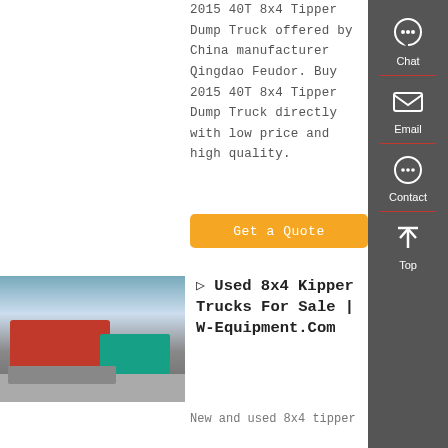2015 40T 8x4 Tipper Dump Truck offered by China manufacturer Qingdao Feudor. Buy 2015 40T 8x4 Tipper Dump Truck directly with low price and high quality.
Get a Quote
[Figure (photo): Red dump trucks parked on a road, Chinese heavy vehicles, green truck visible in background]
▷ Used 8x4 Kipper Trucks For Sale | W-Equipment.Com
New and used 8x4 tipper